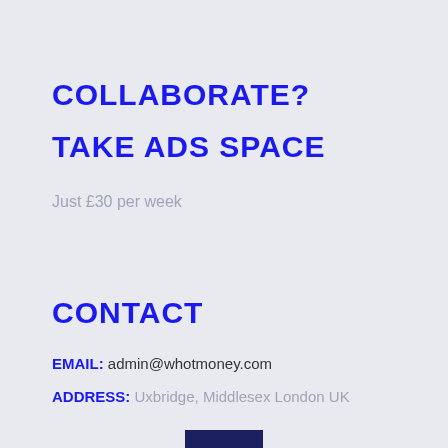COLLABORATE?
TAKE ADS SPACE
Just £30 per week
CONTACT
EMAIL: admin@whotmoney.com
ADDRESS: Uxbridge, Middlesex London UK